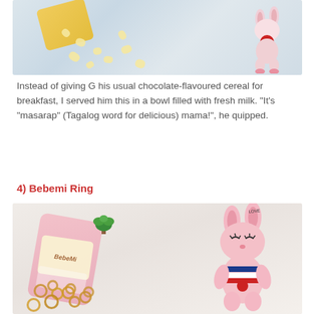[Figure (photo): Photo of yellow star/flower-shaped cereal pieces scattered on white surface next to a pink and red stuffed rabbit doll and a yellow snack package]
Instead of giving G his usual chocolate-flavoured cereal for breakfast, I served him this in a bowl filled with fresh milk. "It's "masarap" (Tagalog word for delicious) mama!", he quipped.
4) Bebemi Ring
[Figure (photo): Photo of Bebemi Ring snack package (pink bag) next to a pink stuffed bunny rabbit doll with LOVE written on ear, with small plant and ring-shaped cereal pieces scattered in foreground on white surface]